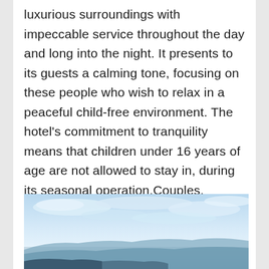luxurious surroundings with impeccable service throughout the day and long into the night. It presents to its guests a calming tone, focusing on these people who wish to relax in a peaceful child-free environment. The hotel's commitment to tranquility means that children under 16 years of age are not allowed to stay in, during its seasonal operation.Couples, Singles and Honeymooners are welcome to enjoy and experience the relaxing ambience which will release them into their vacation.
[Figure (photo): A scenic outdoor photograph showing a blue sky with wispy white clouds and a coastal or mountainous landscape at the bottom with blue tones.]